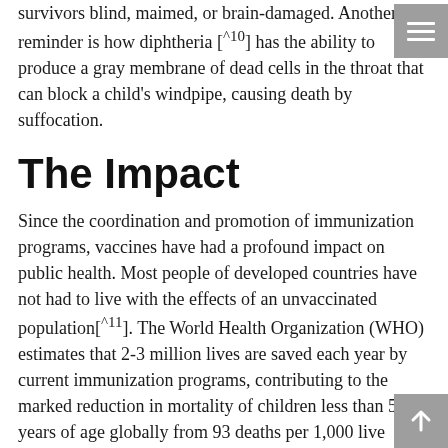survivors blind, maimed, or brain-damaged. Another reminder is how diphtheria [^10] has the ability to produce a gray membrane of dead cells in the throat that can block a child's windpipe, causing death by suffocation.
The Impact
Since the coordination and promotion of immunization programs, vaccines have had a profound impact on public health. Most people of developed countries have not had to live with the effects of an unvaccinated population[^11]. The World Health Organization (WHO) estimates that 2-3 million lives are saved each year by current immunization programs, contributing to the marked reduction in mortality of children less than 5 years of age globally from 93 deaths per 1,000 live births in 1990 to 39 deaths per 1,000 live births in 2018 [^12].